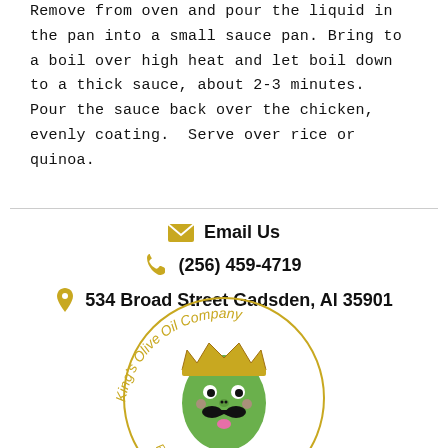Remove from oven and pour the liquid in the pan into a small sauce pan. Bring to a boil over high heat and let boil down to a thick sauce, about 2-3 minutes.  Pour the sauce back over the chicken, evenly coating.  Serve over rice or quinoa.
Email Us
(256) 459-4719
534 Broad Street Gadsden, Al 35901
[Figure (logo): King's Olive Oil Company circular logo with cartoon olive character wearing a crown and mustache]